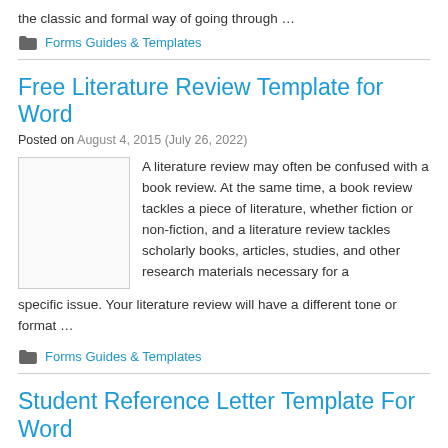the classic and formal way of going through …
Forms Guides & Templates
Free Literature Review Template for Word
Posted on August 4, 2015 (July 26, 2022)
[Figure (other): Thumbnail image placeholder for literature review article]
A literature review may often be confused with a book review. At the same time, a book review tackles a piece of literature, whether fiction or non-fiction, and a literature review tackles scholarly books, articles, studies, and other research materials necessary for a specific issue. Your literature review will have a different tone or format …
Forms Guides & Templates
Student Reference Letter Template For Word